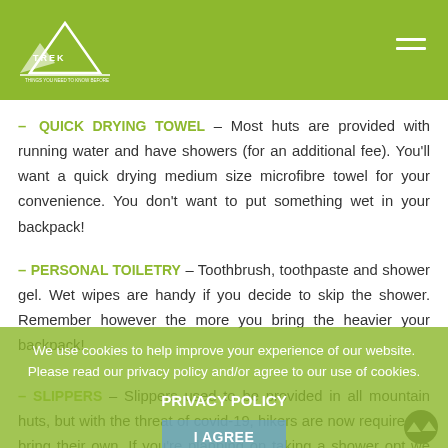Trek Ni logo and navigation menu
– QUICK DRYING TOWEL – Most huts are provided with running water and have showers (for an additional fee). You'll want a quick drying medium size microfibre towel for your convenience. You don't want to put something wet in your backpack!
– PERSONAL TOILETRY – Toothbrush, toothpaste and shower gel. Wet wipes are handy if you decide to skip the shower. Remember however the more you bring the heavier your backpack!
– SLIPPERS – Slippers used to be provided in all mountain huts, but with the threat of covid-19, hikers are now required to bring their own. If you're planning on taking a shower opt we recommend slippers.
PRIVACY POLICY — We use cookies to help improve your experience of our website. Please read our privacy policy and/or agree to our use of cookies. I AGREE